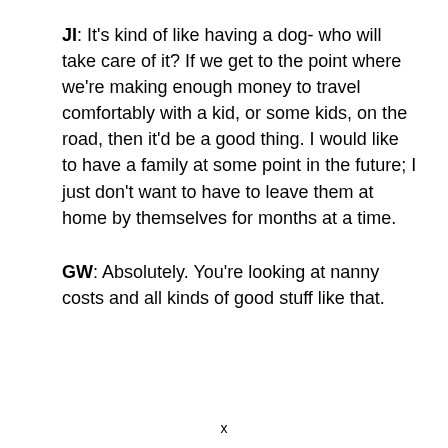JI: It's kind of like having a dog- who will take care of it? If we get to the point where we're making enough money to travel comfortably with a kid, or some kids, on the road, then it'd be a good thing. I would like to have a family at some point in the future; I just don't want to have to leave them at home by themselves for months at a time.
GW: Absolutely. You're looking at nanny costs and all kinds of good stuff like that.
x